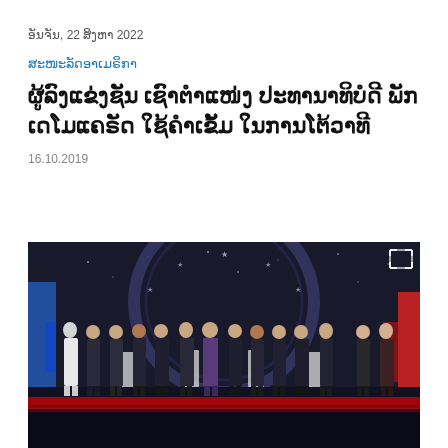ອັນຈັນ, 22 ສິງຫາ 2022
ສະໜະລັດອາເມຣິກາ
ຜູ້ລົງແຂ່ງຊັນ ເຊົາຕໍາແໜ່ງ ປະທານາທິບໍດີ ພັກ ເດໂມແຄຣັດ ໃຊ້ຄໍາເຂັ້ມ ໃນການໂຕ້ວາທີ
16.10.2019
[Figure (photo): Group photo of Democratic presidential debate candidates standing on stage in front of a circular star-decorated backdrop. Multiple candidates in formal attire lined up across the stage with podiums/chairs visible. Red and blue stage lighting elements on sides.]